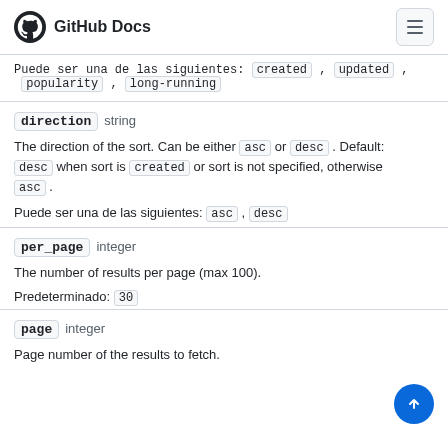GitHub Docs
Puede ser una de las siguientes: created , updated , popularity , long-running
direction  string
The direction of the sort. Can be either asc or desc . Default: desc when sort is created or sort is not specified, otherwise asc .
Puede ser una de las siguientes: asc , desc
per_page  integer
The number of results per page (max 100).
Predeterminado: 30
page  integer
Page number of the results to fetch.